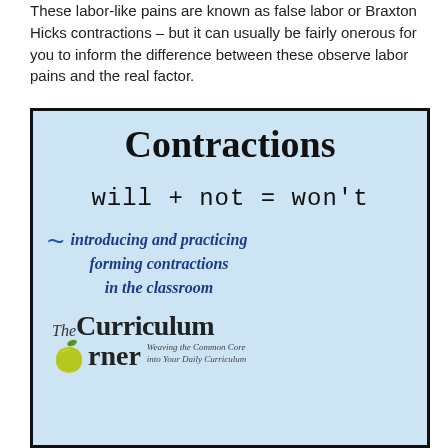These labor-like pains are known as false labor or Braxton Hicks contractions – but it can usually be fairly onerous for you to inform the difference between these observe labor pains and the real factor.
[Figure (infographic): Educational infographic on a light blue background with black border. Title: 'Contractions'. Equation: 'will + not = won't'. Subtitle in italic blue: 'introducing and practicing forming contractions in the classroom'. Branding: 'The Curriculum Corner – Weaving the Common Core into Your Daily Curriculum' with an apple logo.]